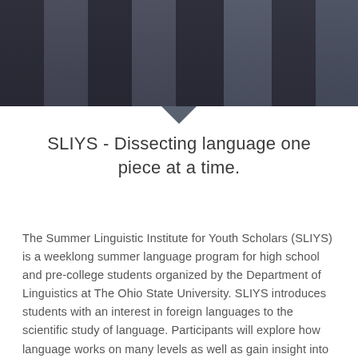[Figure (photo): Group photo of students standing in a row wearing lanyards/badges, photographed from the torso down]
SLIYS - Dissecting language one piece at a time.
The Summer Linguistic Institute for Youth Scholars (SLIYS) is a weeklong summer language program for high school and pre-college students organized by the Department of Linguistics at The Ohio State University. SLIYS introduces students with an interest in foreign languages to the scientific study of language. Participants will explore how language works on many levels as well as gain insight into the ways in which individual languages are similar to and different from each other.